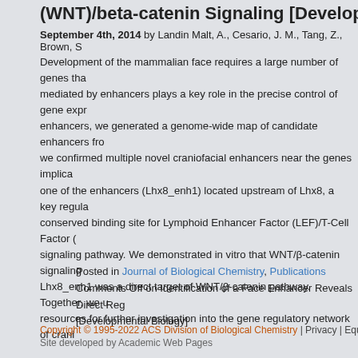(WNT)/beta-catenin Signaling [Developmental Biology]
September 4th, 2014 by Landin Malt, A., Cesario, J. M., Tang, Z., Brown,
Development of the mammalian face requires a large number of genes that mediated by enhancers plays a key role in the precise control of gene expression of enhancers, we generated a genome-wide map of candidate enhancers from we confirmed multiple novel craniofacial enhancers near the genes implicated one of the enhancers (Lhx8_enh1) located upstream of Lhx8, a key regulator conserved binding site for Lymphoid Enhancer Factor (LEF)/T-Cell Factor ( signaling pathway. We demonstrated in vitro that WNT/β-catenin signaling Lhx8_enh1 was a direct target of WNT/β-catenin pathway. Together, we understand resources for further investigation into the gene regulatory network of craniofacial
Posted in Journal of Biological Chemistry, Publications
Comments Off on Identification of a Face Enhancer Reveals Direct Regulation [Developmental Biology]
Copyright © 1995-2022 ACS Division of Biological Chemistry | Privacy | Equity & Inclusion
Site developed by Academic Web Pages